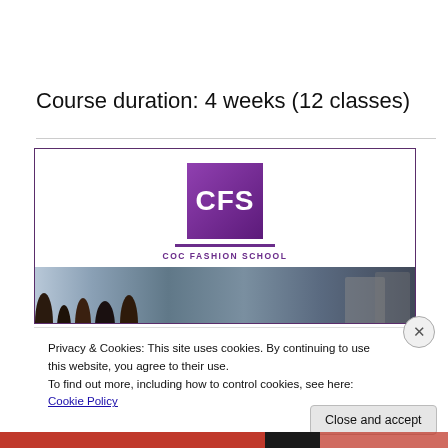Course duration: 4 weeks (12 classes)
[Figure (logo): CFS COC Fashion School logo with purple square background, white CFS text, and school name beneath]
[Figure (photo): Photo of students in a fashion school classroom setting]
Privacy & Cookies: This site uses cookies. By continuing to use this website, you agree to their use.
To find out more, including how to control cookies, see here: Cookie Policy
Close and accept